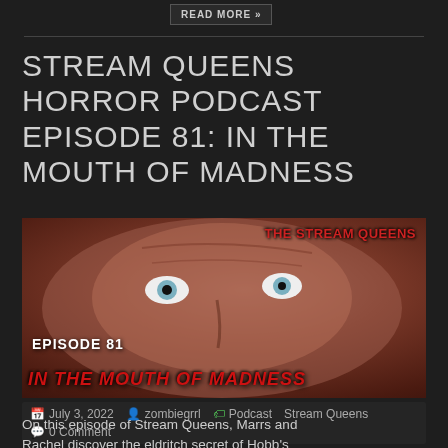READ MORE »
STREAM QUEENS HORROR PODCAST EPISODE 81: IN THE MOUTH OF MADNESS
[Figure (photo): Podcast episode thumbnail showing a close-up of a man's distorted face with pale blue eyes, overlaid with red text reading 'THE STREAM QUEENS' at top right, 'EPISODE 81' in white at bottom left, and 'IN THE MOUTH OF MADNESS' in red horror-style font at the bottom.]
July 3, 2022   zombiegrrl   Podcast   Stream Queens   0 Comment
On this episode of Stream Queens, Marrs and Rachel discover the eldritch secret of Hobb's